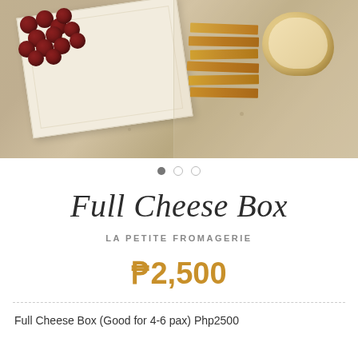[Figure (photo): Overhead photo of a cheese box on a granite surface showing red grapes, a white paper-wrapped package, and a clear bag of crackers/bread slices]
Full Cheese Box
LA PETITE FROMAGERIE
₱2,500
Full Cheese Box (Good for 4-6 pax) Php2500